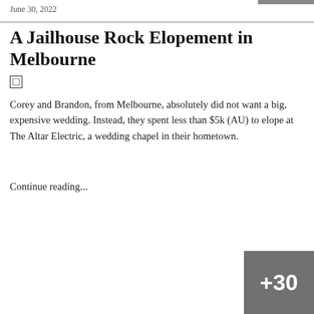June 30, 2022
A Jailhouse Rock Elopement in Melbourne
Corey and Brandon, from Melbourne, absolutely did not want a big, expensive wedding. Instead, they spent less than $5k (AU) to elope at The Altar Electric, a wedding chapel in their hometown.
Continue reading...